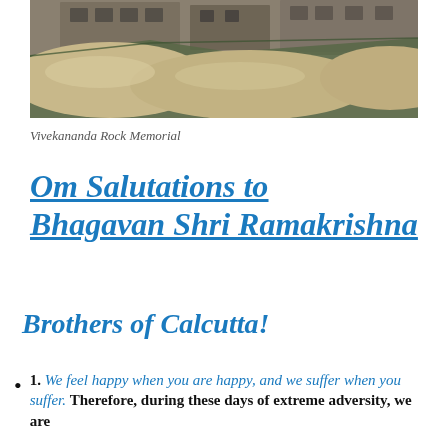[Figure (photo): Photograph showing a construction or renovation site, possibly near the Vivekananda Rock Memorial, with sand/gravel mounds and green mesh/tarp visible, with a building structure in the background.]
Vivekananda Rock Memorial
Om Salutations to Bhagavan Shri Ramakrishna
Brothers of Calcutta!
1. We feel happy when you are happy, and we suffer when you suffer. Therefore, during these days of extreme adversity, we are